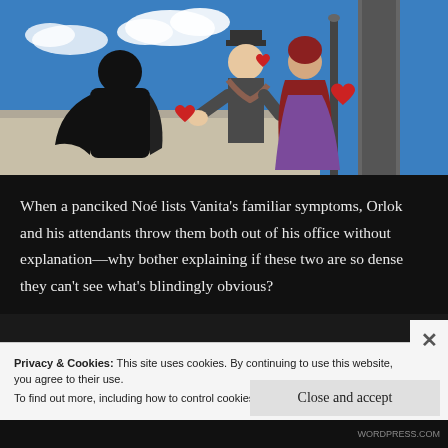[Figure (illustration): Anime screenshot showing characters in Victorian-era setting. A dark-cloaked figure on the left, and a couple (man in top hat and woman in purple dress) on the right with red heart symbols floating, blue sky background with a lamppost and column.]
When a panciked Noé lists Vanita's familiar symptoms, Orlok and his attendants throw them both out of his office without explanation—why bother explaining if these two are so dense they can't see what's blindingly obvious?
Privacy & Cookies: This site uses cookies. By continuing to use this website, you agree to their use.
To find out more, including how to control cookies, see here: Cookie Policy
Close and accept